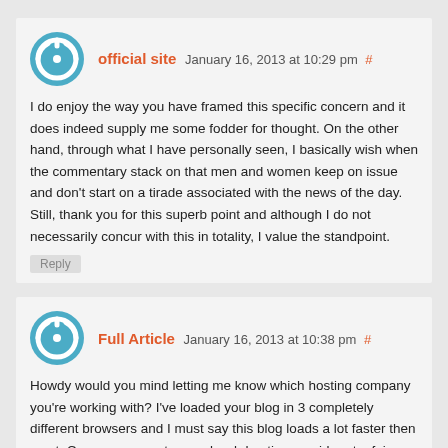official site January 16, 2013 at 10:29 pm #
I do enjoy the way you have framed this specific concern and it does indeed supply me some fodder for thought. On the other hand, through what I have personally seen, I basically wish when the commentary stack on that men and women keep on issue and don’t start on a tirade associated with the news of the day. Still, thank you for this superb point and although I do not necessarily concur with this in totality, I value the standpoint.
Reply
Full Article January 16, 2013 at 10:38 pm #
Howdy would you mind letting me know which hosting company you’re working with? I’ve loaded your blog in 3 completely different browsers and I must say this blog loads a lot faster then most. Can you suggest a good web hosting provider at a fair price? Thank you, I appreciate it!
Reply